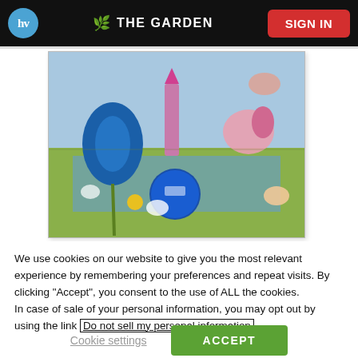hv | THE GARDEN | SIGN IN
[Figure (illustration): A detail from Hieronymus Bosch's 'The Garden of Earthly Delights', showing fantastical creatures, figures, and architectural elements in a surreal landscape with blue flowers, a pink tower, and a blue globe.]
We use cookies on our website to give you the most relevant experience by remembering your preferences and repeat visits. By clicking “Accept”, you consent to the use of ALL the cookies. In case of sale of your personal information, you may opt out by using the link Do not sell my personal information
Cookie settings
ACCEPT